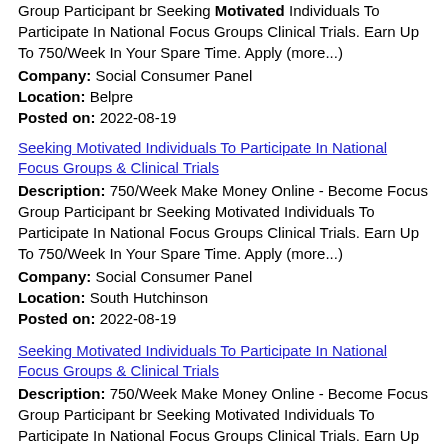Group Participant br Seeking Motivated Individuals To Participate In National Focus Groups Clinical Trials. Earn Up To 750/Week In Your Spare Time. Apply (more...)
Company: Social Consumer Panel
Location: Belpre
Posted on: 2022-08-19
Seeking Motivated Individuals To Participate In National Focus Groups & Clinical Trials
Description: 750/Week Make Money Online - Become Focus Group Participant br Seeking Motivated Individuals To Participate In National Focus Groups Clinical Trials. Earn Up To 750/Week In Your Spare Time. Apply (more...)
Company: Social Consumer Panel
Location: South Hutchinson
Posted on: 2022-08-19
Seeking Motivated Individuals To Participate In National Focus Groups & Clinical Trials
Description: 750/Week Make Money Online - Become Focus Group Participant br Seeking Motivated Individuals To Participate In National Focus Groups Clinical Trials. Earn Up To 750/Week In Your Spare Time. Apply (more...)
Company: Social Consumer Panel
Location: Belpre
Posted on: 2022-08-19
Home-based Participate In National Focus Groups &